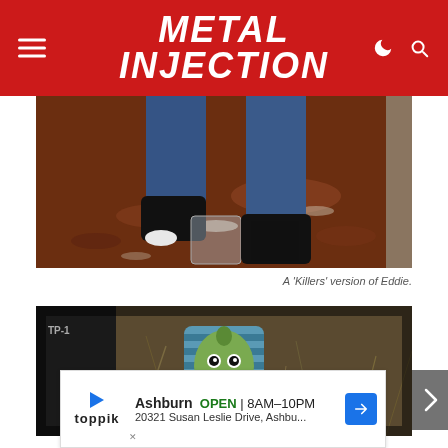METAL INJECTION
[Figure (photo): Close-up photo of a person's leg in jeans and black shoe stepping into a glass, on a red/brown wooden floor. Eddie 'Killers' figure visible.]
A 'Killers' version of Eddie.
[Figure (photo): Photo of an Iron Maiden Eddie figure (pharaoh/Powerslave style, green face with striped blue headdress) placed outdoors in what appears to be a car or outdoor setting with dried grass/branches in background. 'TP-1' label visible.]
Ashburn OPEN | 8AM–10PM
20321 Susan Leslie Drive, Ashbu...